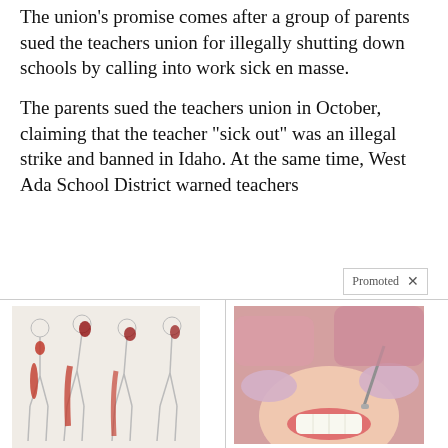The union's promise comes after a group of parents sued the teachers union for illegally shutting down schools by calling into work sick en masse.
The parents sued the teachers union in October, claiming that the teacher “sick out” was an illegal strike and banned in Idaho. At the same time, West Ada School District warned teachers
[Figure (photo): Advertisement image showing illustrated human figures with sciatic nerve pain highlighted in red]
Are You Suffering From Sciatic Nerve Pain? Find Out Why
7,672
[Figure (photo): Advertisement photo showing a person receiving dental work, smiling, with dental tools visible]
Apply For Government Dental Implant Grants
13,983